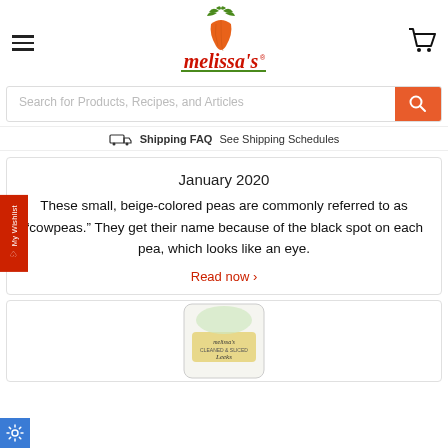[Figure (logo): Melissa's brand logo with carrot illustration and red script text]
Search for Products, Recipes, and Articles
Shipping FAQ See Shipping Schedules
January 2020
These small, beige-colored peas are commonly referred to as “cowpeas.” They get their name because of the black spot on each pea, which looks like an eye.
Read now ›
[Figure (photo): Melissa's branded package of cleaned and sliced leeks product]